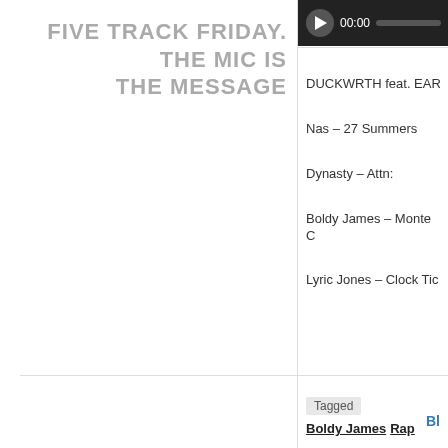FIVE TRACK FRIDAY. THE MIC IS THE MESSAGE
[Figure (other): Audio player bar with play button, 00:00 timestamp, and progress bar on dark background]
DUCKWRTH feat. EAR
Nas – 27 Summers
Dynasty – Attn:
Boldy James – Monte C
Lyric Jones – Clock Tic
Tagged  Boldy James  Rap